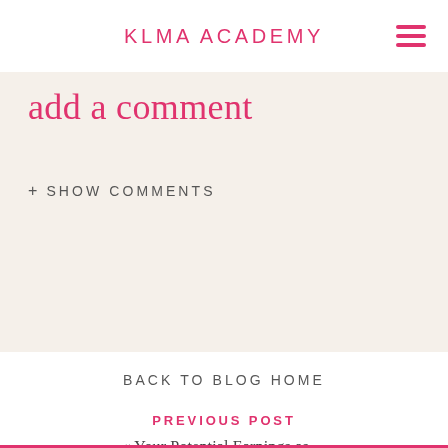KLMA ACADEMY
add a comment
+ SHOW COMMENTS
BACK TO BLOG HOME
PREVIOUS POST
« Your Potential Earnings as ...